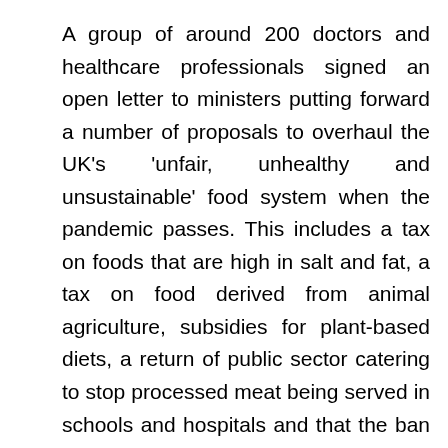A group of around 200 doctors and healthcare professionals signed an open letter to ministers putting forward a number of proposals to overhaul the UK's 'unfair, unhealthy and unsustainable' food system when the pandemic passes. This includes a tax on foods that are high in salt and fat, a tax on food derived from animal agriculture, subsidies for plant-based diets, a return of public sector catering to stop processed meat being served in schools and hospitals and that the ban on junk food advertising is accelerated and made total, banning such advertising even after the watershed. Read the article here